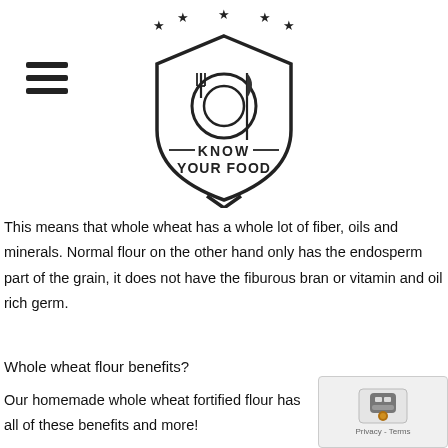[Figure (logo): Know Your Food logo: shield shape with fork, plate, and knife icon, stars above, text KNOW YOUR FOOD below the icon inside the shield]
[Figure (other): Hamburger menu icon (three horizontal lines)]
This means that whole wheat has a whole lot of fiber, oils and minerals. Normal flour on the other hand only has the endosperm part of the grain, it does not have the fiburous bran or vitamin and oil rich germ.
Whole wheat flour benefits?
Our homemade whole wheat fortified flour has all of these benefits and more!